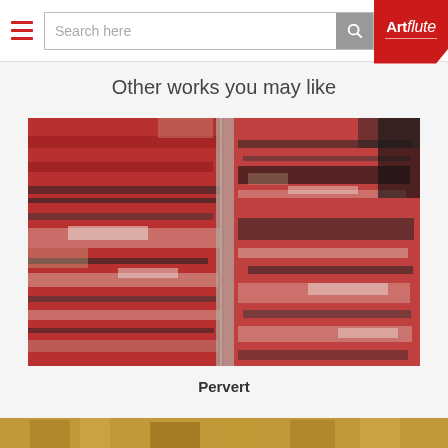Search here | Artflute
Other works you may like
[Figure (photo): Abstract painting with red, black, white, and grey horizontal and textured brushstroke patterns across the canvas.]
Pervert
[Figure (photo): Partial view of another artwork showing warm golden/yellow tones at the bottom of the page.]